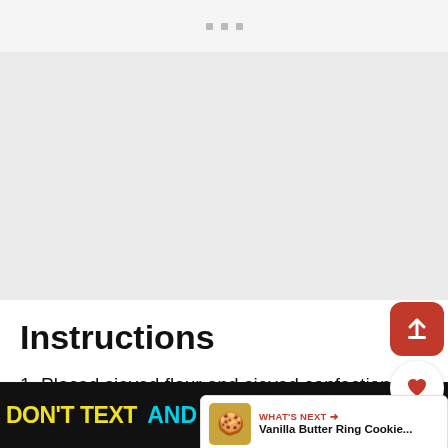Instructions
1. Placed sieved flour and sieved confectioners' sugar in a large mixing bowl.
2. Add butter in 1 cm pieces (distribute evenly over the flour)
[Figure (screenshot): Web page screenshot showing recipe instructions with UI sharing buttons (upload arrow, heart/like button with 3.4K count, share button) on the right side, and a 'What's next' preview card for 'Vanilla Butter Ring Cookie...' with a cookie image.]
DON'T TEXT AND [car emoji] ad NHTSA